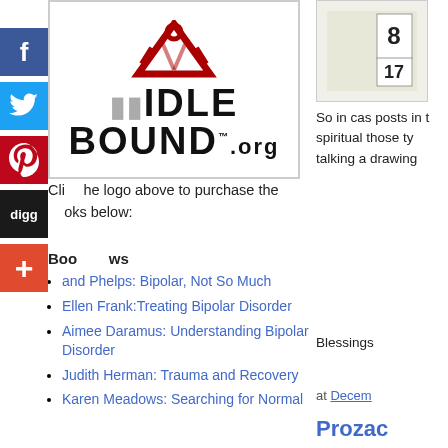[Figure (logo): IndiBOUND.org logo with red abstract figure above bold black text INDIE BOUND.org]
Click the logo above to purchase the books below:
Book Reviews
and Phelps: Bipolar, Not So Much
Ellen Frank:Treating Bipolar Disorder
Aimee Daramus: Understanding Bipolar Disorder
Judith Herman: Trauma and Recovery
Karen Meadows: Searching for Normal
[Figure (photo): Small image in right column showing numbers 8 and 17]
So in case posts in the spiritual those type talking a drawing
Blessings
at Decem
Prozac